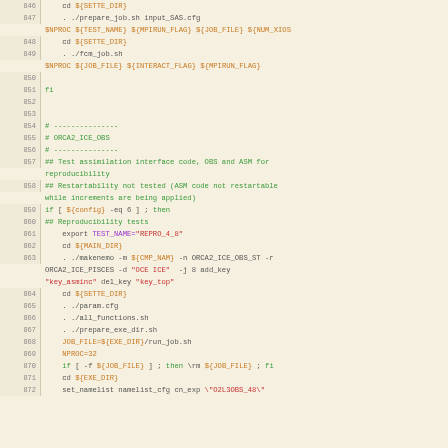[Figure (screenshot): Shell script source code with syntax highlighting, showing lines 846-872 of a shell script. Line numbers appear in a tan/beige gutter on the left. Code uses purple for variables, orange for variable references, green for comments and keywords, and black/gray for plain text.]